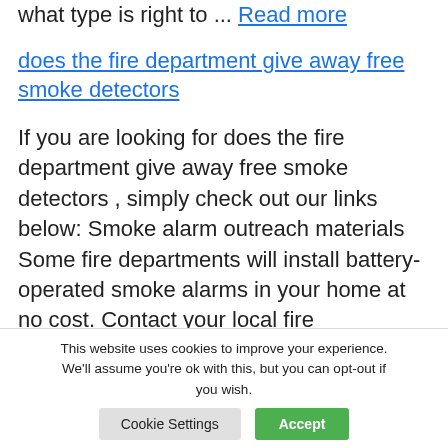what type is right to ... Read more
does the fire department give away free smoke detectors
If you are looking for does the fire department give away free smoke detectors , simply check out our links below: Smoke alarm outreach materials Some fire departments will install battery-operated smoke alarms in your home at no cost. Contact your local fire department to...
This website uses cookies to improve your experience. We'll assume you're ok with this, but you can opt-out if you wish. Cookie Settings Accept